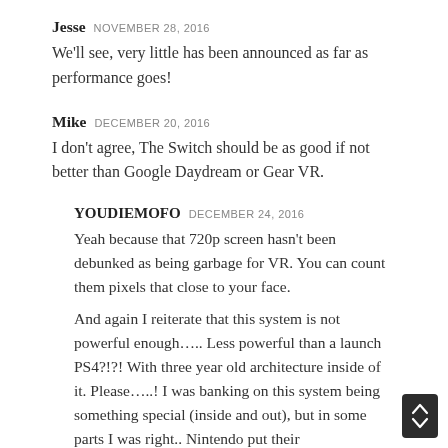Jesse NOVEMBER 28, 2016
We'll see, very little has been announced as far as performance goes!
Mike DECEMBER 20, 2016
I don't agree, The Switch should be as good if not better than Google Daydream or Gear VR.
YOUDIEMOFO DECEMBER 24, 2016
Yeah because that 720p screen hasn't been debunked as being garbage for VR. You can count them pixels that close to your face.
And again I reiterate that this system is not powerful enough….. Less powerful than a launch PS4?!?! With three year old architecture inside of it. Please…..! I was banking on this system being something special (inside and out), but in some parts I was right.. Nintendo put their